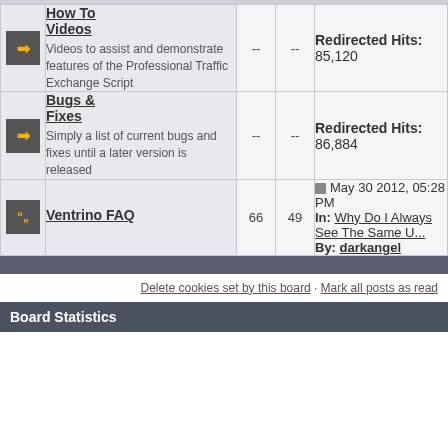|  | Forum | Topics | Posts | Last Post |
| --- | --- | --- | --- | --- |
| [icon] | How To Videos
Videos to assist and demonstrate features of the Professional Traffic Exchange Script | -- | -- | Redirected Hits: 85,120 |
| [icon] | Bugs & Fixes
Simply a list of current bugs and fixes until a later version is released | -- | -- | Redirected Hits: 86,884 |
| [icon] | Ventrino FAQ | 66 | 49 | May 30 2012, 05:28 PM
In: Why Do I Always See The Same U...
By: darkangel |
Delete cookies set by this board · Mark all posts as read
Board Statistics